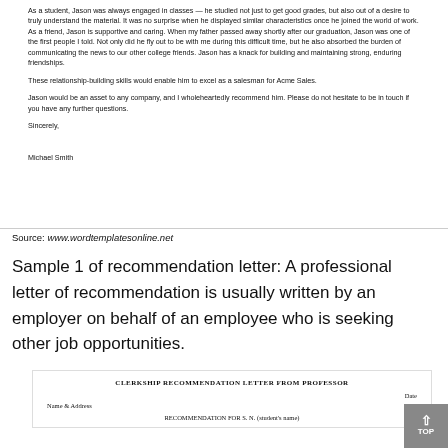As a student, Jason was always engaged in classes — he studied not just to get good grades, but also out of a desire to truly understand the material. It was no surprise when he displayed similar characteristics once he joined the world of work. As a friend, Jason is supportive and caring. When my father passed away shortly after our graduation, Jason was one of the first people I told. Not only did he fly out to be with me during this difficult time, but he also absorbed the burden of communicating the news to our other college friends. Jason has a knack for building and maintaining strong, enduring friendships.
These relationship-building skills would enable him to excel as a salesman for Acme Sales.
Jason would be an asset to any company, and I wholeheartedly recommend him. Please do not hesitate to be in touch if you have any further questions.
Sincerely,
Michael Smith
Source: www.wordtemplatesonline.net
Sample 1 of recommendation letter: A professional letter of recommendation is usually written by an employer on behalf of an employee who is seeking other job opportunities.
CLERKSHIP RECOMMENDATION LETTER FROM PROFESSOR
Date
Name & Address
RECOMMENDATION FOR S. N. (student's name)